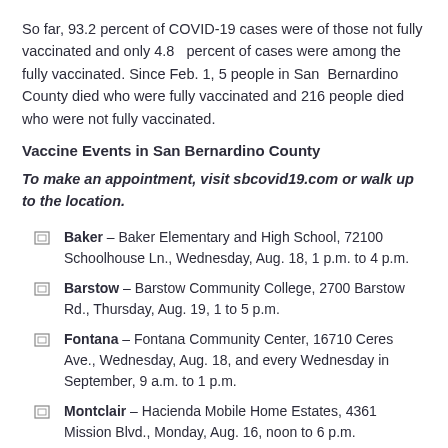So far, 93.2 percent of COVID-19 cases were of those not fully vaccinated and only 4.8 percent of cases were among the fully vaccinated. Since Feb. 1, 5 people in San Bernardino County died who were fully vaccinated and 216 people died who were not fully vaccinated.
Vaccine Events in San Bernardino County
To make an appointment, visit sbcovid19.com or walk up to the location.
Baker – Baker Elementary and High School, 72100 Schoolhouse Ln., Wednesday, Aug. 18, 1 p.m. to 4 p.m.
Barstow – Barstow Community College, 2700 Barstow Rd., Thursday, Aug. 19, 1 to 5 p.m.
Fontana – Fontana Community Center, 16710 Ceres Ave., Wednesday, Aug. 18, and every Wednesday in September, 9 a.m. to 1 p.m.
Montclair – Hacienda Mobile Home Estates, 4361 Mission Blvd., Monday, Aug. 16, noon to 6 p.m.
Montclair – Monterey Manor Mobile Home Estates, 11250 Ramona